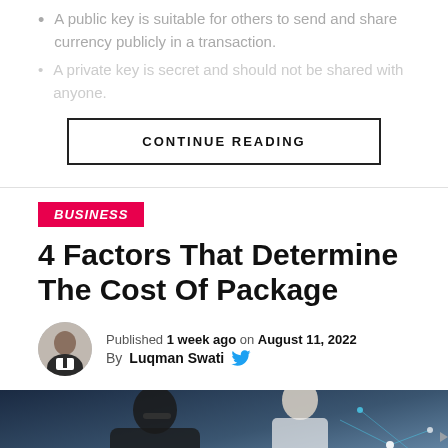A public key is suitable for others to send and share currency publicly in a transaction.
(faded/blurred list item)
CONTINUE READING
BUSINESS
4 Factors That Determine The Cost Of Package
Published 1 week ago on August 11, 2022
By Luqman Swati
[Figure (photo): Hero image showing two people working together, one wearing glasses, with a dark blue tech overlay/network graphic background]